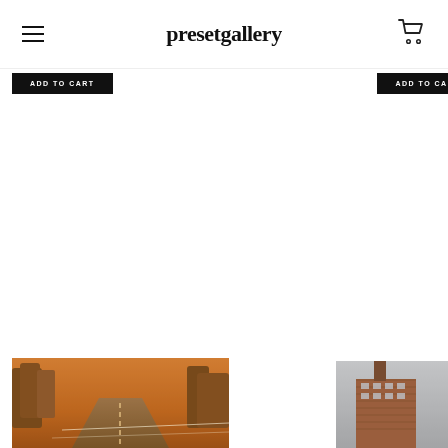presetgallery
[Figure (screenshot): Partially visible 'ADD TO CART' button on left side, black background with white uppercase text]
[Figure (screenshot): Partially visible 'ADD TO' button on right side, black background with white uppercase text, clipped]
[Figure (photo): Warm-toned road/highway photo with trees, bottom left of page]
[Figure (photo): Urban/cityscape photo with brick building and tower, bottom right of page, partially visible]